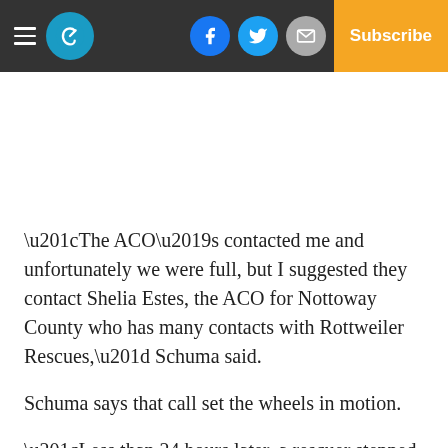The Chronicle — Subscribe
“The ACO’s contacted me and unfortunately we were full, but I suggested they contact Shelia Estes, the ACO for Nottoway County who has many contacts with Rottweiler Rescues,” Schuma said.
Schuma says that call set the wheels in motion.
“Less than 24 hours later, a rescuer stepped up to